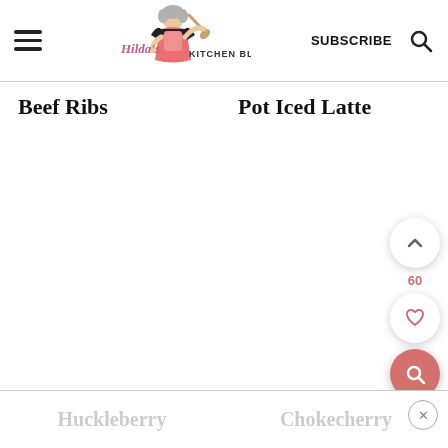Hilda's Kitchen Blog | SUBSCRIBE
Beef Ribs
Pot Iced Latte
[Figure (illustration): Floating action buttons on right side: up chevron button, number 60, heart button, pink search button]
Huckleberry
Chokecherry